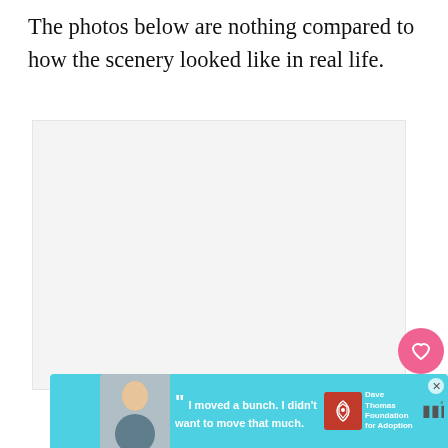The photos below are nothing compared to how the scenery looked like in real life.
[Figure (photo): Large light gray image placeholder area]
[Figure (other): Social interaction panel with pink heart like button showing 382 likes and a share button]
[Figure (other): What's Next panel with thumbnail of mountain lake and text '7 Best Hikes in Banff,...']
[Figure (other): Advertisement banner for Dave Thomas Foundation for Adoption showing a young man with quote 'I moved a bunch. I didn't want to move that much.']